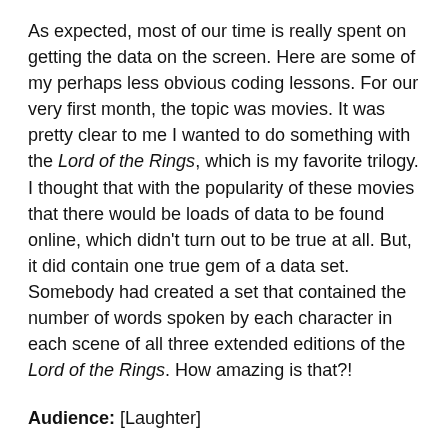As expected, most of our time is really spent on getting the data on the screen. Here are some of my perhaps less obvious coding lessons. For our very first month, the topic was movies. It was pretty clear to me I wanted to do something with the Lord of the Rings, which is my favorite trilogy. I thought that with the popularity of these movies that there would be loads of data to be found online, which didn't turn out to be true at all. But, it did contain one true gem of a data set. Somebody had created a set that contained the number of words spoken by each character in each scene of all three extended editions of the Lord of the Rings. How amazing is that?!
Audience: [Laughter]
Nadieh: I knew! I knew I had to do something with that. [Laughter] Thinking a bit, I thought, well, wouldn't it be interesting to see how many words each member of